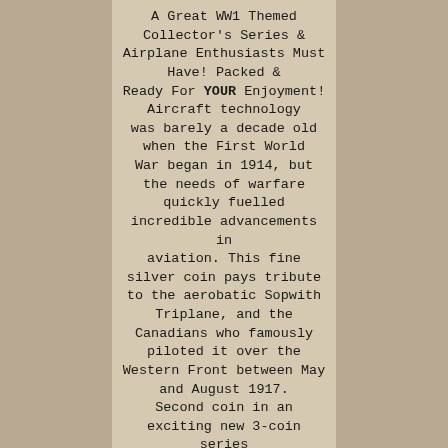A Great WW1 Themed Collector's Series & Airplane Enthusiasts Must Have! Packed & Ready For YOUR Enjoyment! Aircraft technology was barely a decade old when the First World War began in 1914, but the needs of warfare quickly fuelled incredible advancements in aviation. This fine silver coin pays tribute to the aerobatic Sopwith Triplane, and the Canadians who famously piloted it over the Western Front between May and August 1917. Second coin in an exciting new 3-coin series that shines the spotlight on aircraft flown by Canadian combatants during the First World War!
Painstakingly engraved in stunning detail with selective colour: The reverse offers a faithful depiction of two Sopwith Triplanes, made famous by the all-Canadian Black Flight pilots. Coin is 99.99% fine silver and with a mintage limited to 7,500 coins. Celebrates the daring, pioneering spirit of Canadians who took to the sky and helped steer the course of aviation history! Sure to be treasured by collectors and aviation enthusiasts for its artistic merit and historical theme, this striking coin is also a deeply meaningful gift for those whose loved ones proudly served their country abroad, whether on land or in the air. The